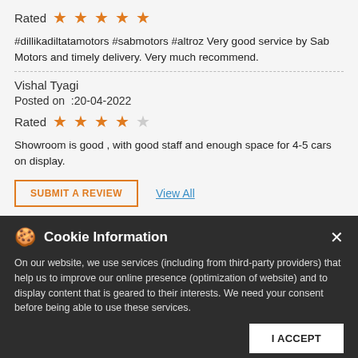Rated ★★★★★
#dillikadiltatamotors #sabmotors #altroz Very good service by Sab Motors and timely delivery. Very much recommend.
Vishal Tyagi
Posted on  :20-04-2022
Rated ★★★★☆
Showroom is good , with good staff and enough space for 4-5 cars on display.
SUBMIT A REVIEW   View All
Cookie Information
On our website, we use services (including from third-party providers) that help us to improve our online presence (optimization of website) and to display content that is geared to their interests. We need your consent before being able to use these services.
Tata Motors on Social
< Back to Timeline
I ACCEPT